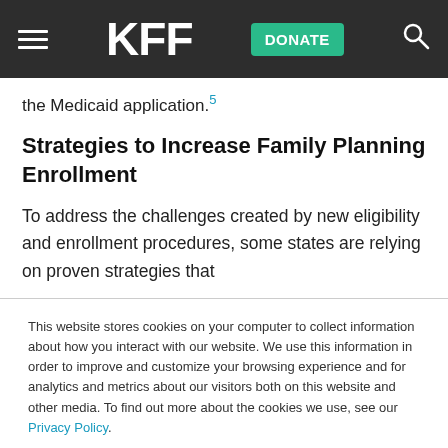KFF — DONATE [navigation bar]
the Medicaid application.5
Strategies to Increase Family Planning Enrollment
To address the challenges created by new eligibility and enrollment procedures, some states are relying on proven strategies that
This website stores cookies on your computer to collect information about how you interact with our website. We use this information in order to improve and customize your browsing experience and for analytics and metrics about our visitors both on this website and other media. To find out more about the cookies we use, see our Privacy Policy.
Accept